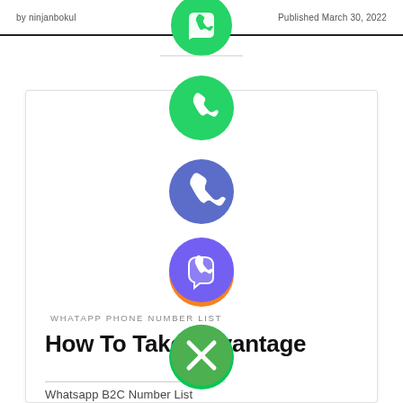by ninjanbokul   Published March 30, 2022
[Figure (infographic): Vertical stack of social media / messaging app icon buttons: WhatsApp (green), Phone/Viber (blue-purple), Email (orange envelope), LINE (green), Viber (purple), and a green close/X button at the bottom]
WHATAPP PHONE NUMBER LIST
How To Take Advantage
Whatsapp B2C Number List